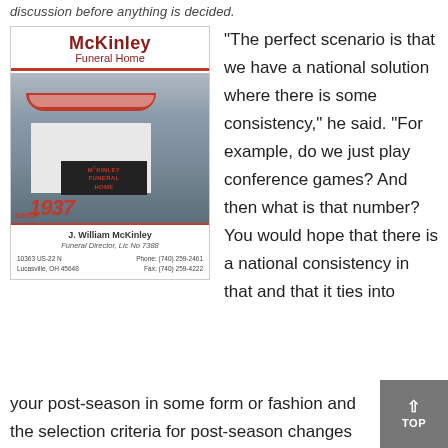discussion before anything is decided.
[Figure (photo): McKinley Funeral Home advertisement showing the building exterior with red awning, signage reading McKinley Funeral Home Since 1937, and contact information for J. William McKinley, Funeral Director, Lic No 7388, located at 10363 US-22 N, Lucasville, OH 45648, Phone: (740) 259-2461, Fax: (740) 259-4222]
“The perfect scenario is that we have a national solution where there is some consistency,” he said. “For example, do we just play conference games? And then what is that number? You would hope that there is a national consistency in that and that it ties into your post-season in some form or fashion and the selection criteria for post-season changes and accommodates that national solution. That is the best scenario.